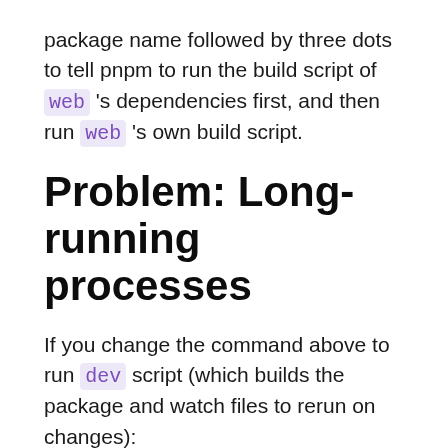package name followed by three dots to tell pnpm to run the build script of web 's dependencies first, and then run web 's own build script.
Problem: Long-running processes
If you change the command above to run dev script (which builds the package and watch files to rerun on changes):
[Figure (screenshot): Dark code block showing: pnpm dev --filter web...]
Bad news, it will get stuck in the dev script